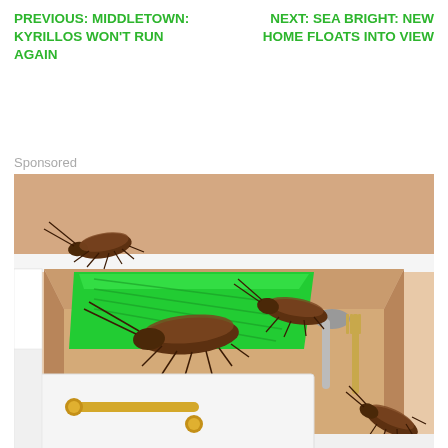PREVIOUS: MIDDLETOWN: KYRILLOS WON'T RUN AGAIN
NEXT: SEA BRIGHT: NEW HOME FLOATS INTO VIEW
Sponsored
[Figure (illustration): Illustration of an open kitchen drawer with cockroaches crawling on and around a green sticky trap glue board. The drawer also contains silverware (spoon and fork). A cockroach is also visible on the exterior cabinet surface bottom right. The cabinet has white finish with gold/brass handles.]